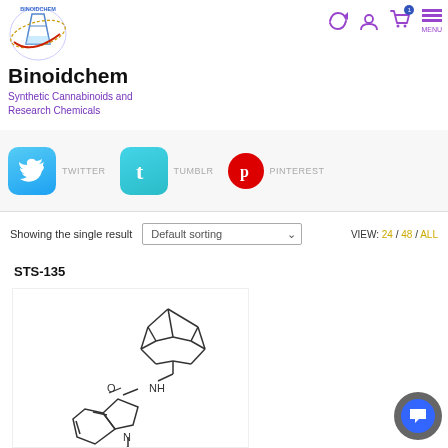[Figure (logo): Binoidchem logo with flask icon]
Binoidchem
Synthetic Cannabinoids and Research Chemicals
[Figure (infographic): Navigation icons: refresh, user, cart (with badge 1), menu]
[Figure (infographic): Social media bar with Twitter, Tumblr, Pinterest icons and labels]
Showing the single result
Default sorting
VIEW: 24 / 48 / ALL
STS-135
[Figure (illustration): Chemical structure diagram of STS-135 (synthetic cannabinoid) showing indole core with adamantane carboxamide substituent and butyl chain]